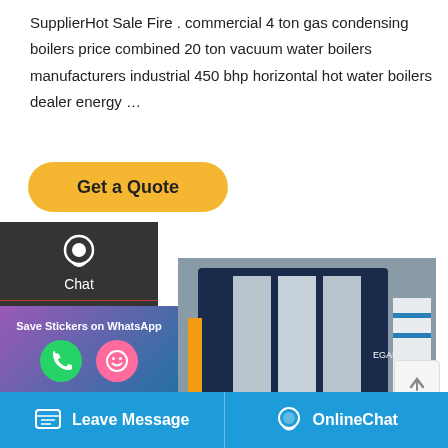SupplierHot Sale Fire . commercial 4 ton gas condensing boilers price combined 20 ton vacuum water boilers manufacturers industrial 450 bhp horizontal hot water boilers dealer energy …
Get a Quote
Chat
Email
Contact
[Figure (photo): Industrial gas condensing boiler with red burner attachment, dark blue casing with silver insulation panels, photographed in an industrial setting]
Save Stickers on WhatsApp
Leave Message
OnlineChat